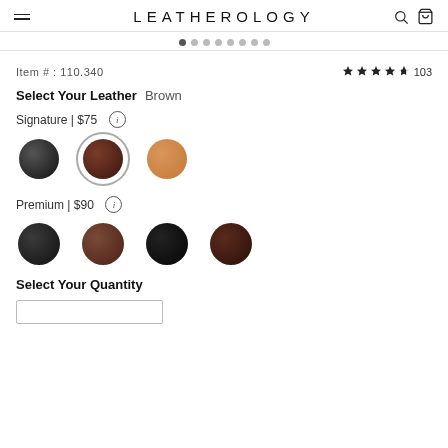LEATHEROLOGY
Item # : 110.340
★★★★½ 103
Select Your Leather  Brown
Signature | $75 ⓘ
[Figure (illustration): Three leather color swatches (circles): Black, Brown (selected with ring), Tan/Cognac]
Premium | $90 ⓘ
[Figure (illustration): Four premium leather color swatches (circles): Black pebbled, Brown pebbled, Dark Black, Dark Brown]
Select Your Quantity